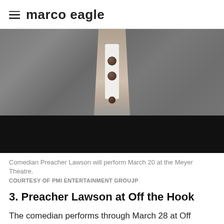marco eagle
[Figure (photo): Close-up photo of a person wearing a grey hoodie sweatshirt with white placket and brown/dark buttons, shown from the neck/chest area. The bottom portion of the image fades to black.]
Comedian Preacher Lawson will perform March 20 at the Meyer Theatre.
COURTESY OF PMI ENTERTAINMENT GROUJP
3. Preacher Lawson at Off the Hook
The comedian performs through March 28 at Off